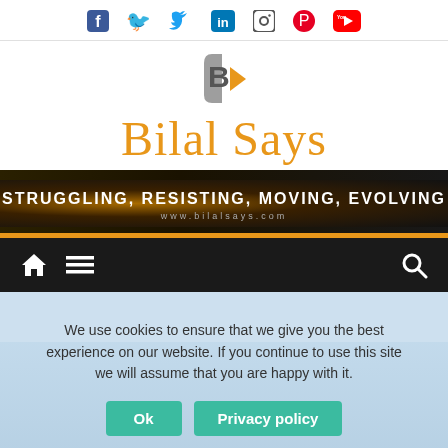[Figure (infographic): Social media icons row: Facebook, Twitter, LinkedIn, Instagram, Pinterest, YouTube]
[Figure (logo): Bilal Says logo — stylized B with orange arrow, text 'Bilal Says' in orange serif font]
[Figure (infographic): Dark banner with text 'STRUGGLING, RESISTING, MOVING, EVOLVING' and 'www.bilalsays.com']
[Figure (infographic): Black navigation bar with home icon, hamburger menu, and search icon]
Soft Skills
We use cookies to ensure that we give you the best experience on our website. If you continue to use this site we will assume that you are happy with it.
[Figure (infographic): Cookie consent buttons: 'Ok' and 'Privacy policy' in teal/green color]